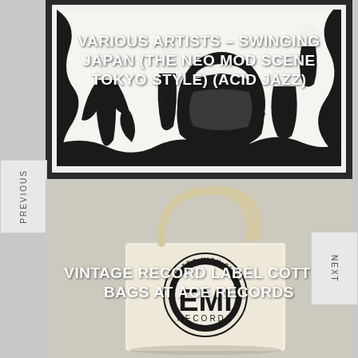[Figure (photo): Black and white illustration/artwork showing figures in a decorative Japanese-style composition, framed in white. This is the album cover for Various Artists - Swinging Japan (The Neo Mod Scene Tokyo Style) (Acid Jazz).]
VARIOUS ARTISTS – SWINGING JAPAN (THE NEO MOD SCENE TOKYO STYLE) (ACID JAZZ)
[Figure (photo): Photo of a cream/natural cotton tote bag with a vintage record label logo (EMI Records style) printed in black. The bag has long handles and reads 'ULTRA HIGH FIDELITY' around the top of the circular logo.]
VINTAGE RECORD LABEL COTTON BAGS AT ACE RECORDS